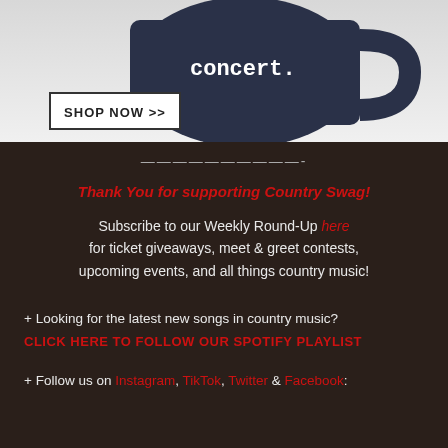[Figure (photo): Dark navy/black coffee mug with white text reading 'concert.' on a light gray background, with a 'SHOP NOW >>' button overlay in the lower left]
——————————-
Thank You for supporting Country Swag!
Subscribe to our Weekly Round-Up here for ticket giveaways, meet & greet contests, upcoming events, and all things country music!
+ Looking for the latest new songs in country music? CLICK HERE TO FOLLOW OUR SPOTIFY PLAYLIST
+ Follow us on Instagram, TikTok, Twitter & Facebook: